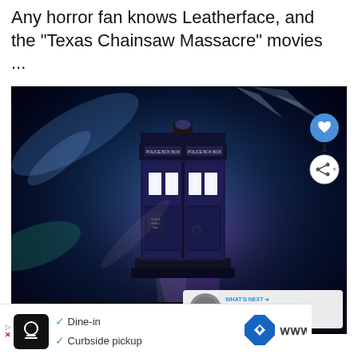Any horror fan knows Leatherface, and the "Texas Chainsaw Massacre" movies ...
[Figure (photo): Doctor Who TARDIS police box floating in a swirling blue cosmic/space background with light effects. Overlay elements: heart/like button (blue circle), share count '1', share button, 'WHAT'S NEXT' banner with 'Big Brother 16' Spoilers:...]
[Figure (infographic): Advertisement bar at the bottom showing a restaurant/food logo, checkmarks for 'Dine-in' and 'Curbside pickup', a blue map/navigation diamond icon, and a weather icon on the right.]